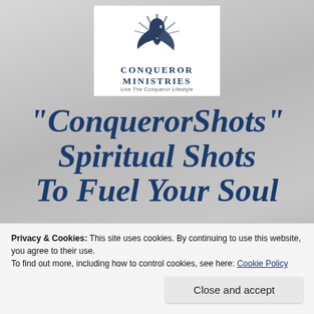[Figure (logo): Conqueror Ministries logo with eagle graphic, organization name 'CONQUEROR MINISTRIES', and tagline 'Live The Conqueror Lifestyle']
"ConquerorShots" Spiritual Shots To Fuel Your Soul
By: Darrin D. Payne, BSOC
Founder/Ordained Minister/Author/Speaker
Privacy & Cookies: This site uses cookies. By continuing to use this website, you agree to their use. To find out more, including how to control cookies, see here: Cookie Policy
Close and accept